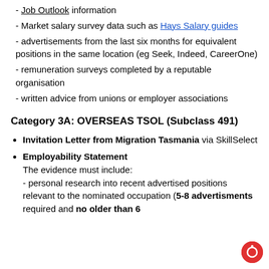- Job Outlook information
- Market salary survey data such as Hays Salary guides
- advertisements from the last six months for equivalent positions in the same location (eg Seek, Indeed, CareerOne)
- remuneration surveys completed by a reputable organisation
- written advice from unions or employer associations
Category 3A: OVERSEAS TSOL (Subclass 491)
Invitation Letter from Migration Tasmania via SkillSelect
Employability Statement
The evidence must include:
- personal research into recent advertised positions relevant to the nominated occupation (5-8 advertisments required and no older than 6